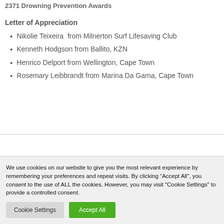2371 Drowning Prevention Awards
Letter of Appreciation
Nikolie Teixeira  from Milnerton Surf Lifesaving Club
Kenneth Hodgson from Ballito, KZN
Henrico Delport from Wellington, Cape Town
Rosemary Leibbrandt from Marina Da Gama, Cape Town
We use cookies on our website to give you the most relevant experience by remembering your preferences and repeat visits. By clicking “Accept All”, you consent to the use of ALL the cookies. However, you may visit "Cookie Settings" to provide a controlled consent.